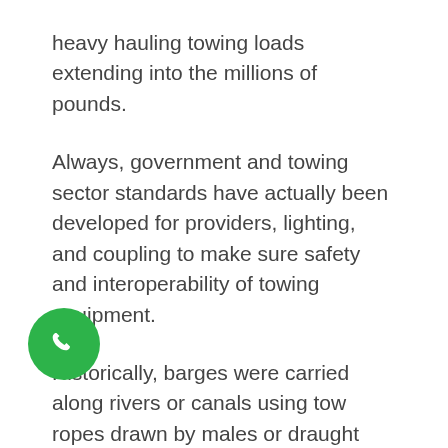heavy hauling towing loads extending into the millions of pounds.
Always, government and towing sector standards have actually been developed for providers, lighting, and coupling to make sure safety and interoperability of towing equipment.
Historically, barges were carried along rivers or canals using tow ropes drawn by males or draught animals walking along towpaths on the banks. Over thousands of years the maritime field has fine-tuned towing to a science.
[Figure (illustration): Green circular phone/call button icon with white telephone handset symbol]
Airplane can tow other aircraft also. Troop and